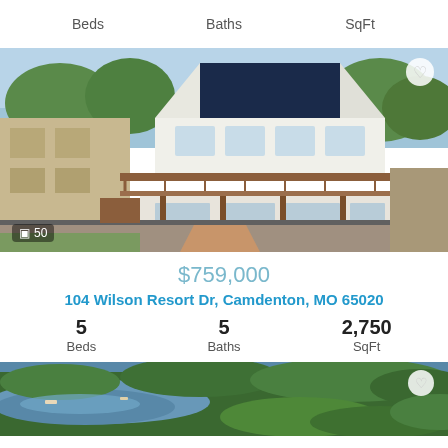Beds    Baths    SqFt
[Figure (photo): Exterior photo of a multi-story lakeside house with large deck, wooden railings, and walkway. Photo count overlay shows 50 photos.]
$759,000
104 Wilson Resort Dr, Camdenton, MO 65020
5 Beds   5 Baths   2,750 SqFt
[Figure (photo): Aerial photo of a lake surrounded by dense green trees and forested shoreline.]